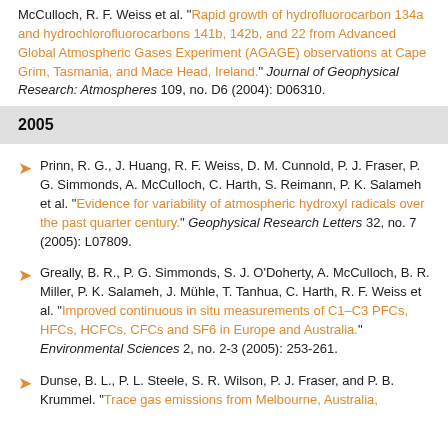McCulloch, R. F. Weiss et al. "Rapid growth of hydrofluorocarbon 134a and hydrochlorofluorocarbons 141b, 142b, and 22 from Advanced Global Atmospheric Gases Experiment (AGAGE) observations at Cape Grim, Tasmania, and Mace Head, Ireland." Journal of Geophysical Research: Atmospheres 109, no. D6 (2004): D06310.
2005
Prinn, R. G., J. Huang, R. F. Weiss, D. M. Cunnold, P. J. Fraser, P. G. Simmonds, A. McCulloch, C. Harth, S. Reimann, P. K. Salameh et al. "Evidence for variability of atmospheric hydroxyl radicals over the past quarter century." Geophysical Research Letters 32, no. 7 (2005): L07809.
Greally, B. R., P. G. Simmonds, S. J. O'Doherty, A. McCulloch, B. R. Miller, P. K. Salameh, J. Mühle, T. Tanhua, C. Harth, R. F. Weiss et al. "Improved continuous in situ measurements of C1-C3 PFCs, HFCs, HCFCs, CFCs and SF6 in Europe and Australia." Environmental Sciences 2, no. 2-3 (2005): 253-261.
Dunse, B. L., P. L. Steele, S. R. Wilson, P. J. Fraser, and P. B. Krummel. "Trace gas emissions from Melbourne, Australia,